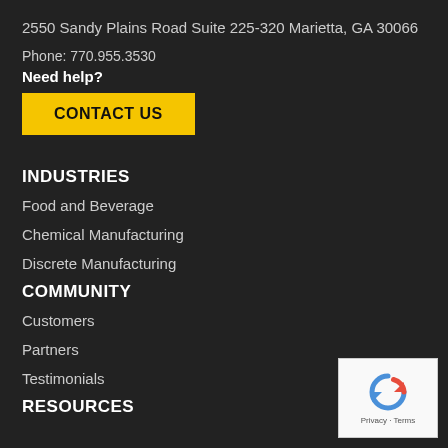2550 Sandy Plains Road Suite 225-320 Marietta, GA 30066
Phone: 770.955.3530
Need help?
CONTACT US
INDUSTRIES
Food and Beverage
Chemical Manufacturing
Discrete Manufacturing
COMMUNITY
Customers
Partners
Testimonials
RESOURCES
[Figure (logo): reCAPTCHA logo with Privacy and Terms text]